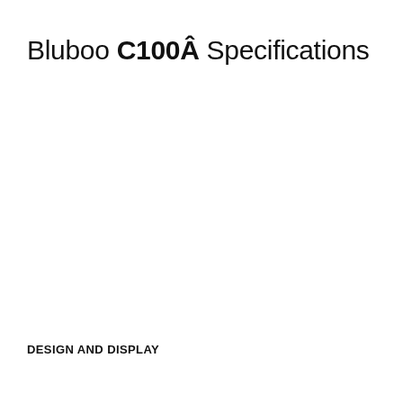Bluboo C100Â Specifications
DESIGN AND DISPLAY